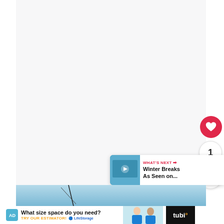[Figure (screenshot): Web page screenshot showing a white/light gray content area with UI elements: a red heart/like button, a count circle showing '1', a share button, a 'What's Next' recommendation card showing 'Winter Breaks As Seen on...', a blue-tinted image at the bottom, and a Life Storage advertisement banner at the bottom.]
1
WHAT'S NEXT → Winter Breaks As Seen on...
What size space do you need? TRY OUR ESTIMATOR! LifeStorage